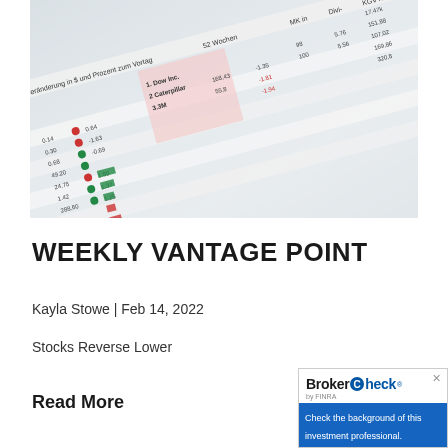[Figure (photo): Close-up photo of a financial newspaper or stock market table showing numbers, stock prices, percentage changes, and colored markers in red and green, with German text 'Veränderung in $ und Prozent zum Vortag' and company names including Dow Inc., Caterpillar, 3M]
WEEKLY VANTAGE POINT
Kayla Stowe | Feb 14, 2022
Stocks Reverse Lower
Read More
[Figure (logo): BrokerCheck by FINRA widget — Check the background of this investment professional.]